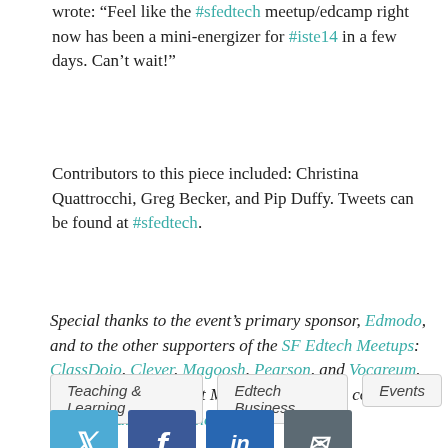wrote: "Feel like the #sfedtech meetup/edcamp right now has been a mini-energizer for #iste14 in a few days. Can't wait!"
Contributors to this piece included: Christina Quattrocchi, Greg Becker, and Pip Duffy. Tweets can be found at #sfedtech.
Special thanks to the event's primary sponsor, Edmodo, and to the other supporters of the SF Edtech Meetups: ClassDojo, Clever, Magoosh, Pearson, and Vocareum. Stay tuned for our next Meetup opportunity, coming up soon! Details will be here.
Teaching & Learning
Edtech Business
Events
[Figure (infographic): Social sharing icons: Twitter (blue bird), Facebook (blue f), LinkedIn (blue in), Email (dark envelope)]